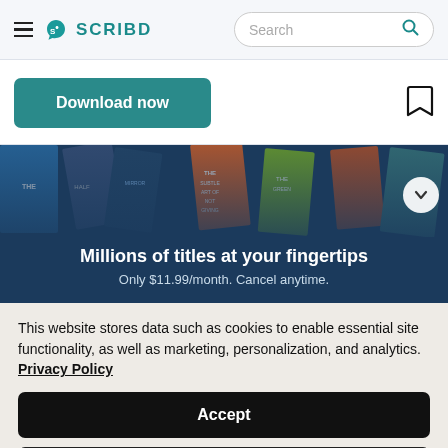Scribd — Search bar
Download now
[Figure (screenshot): Scribd promotional banner with book covers and text: Millions of titles at your fingertips. Only $11.99/month. Cancel anytime.]
This website stores data such as cookies to enable essential site functionality, as well as marketing, personalization, and analytics. Privacy Policy
Accept
Deny